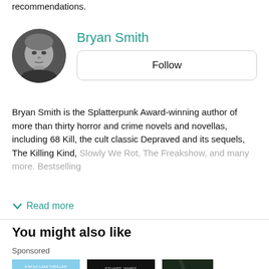recommendations.
[Figure (photo): Black and white circular portrait photo of Bryan Smith, a middle-aged man with light hair]
Bryan Smith
Follow
Bryan Smith is the Splatterpunk Award-winning author of more than thirty horror and crime novels and novellas, including 68 Kill, the cult classic Depraved and its sequels, The Killing Kind, Slowly We Rot, The Freakshow, and many more. Bestselling
Read more
You might also like
Sponsored
[Figure (photo): Book cover: 'Her Last' - A Wolf Lake Thriller, showing a forest silhouette against a sunset sky]
[Figure (photo): Book cover: 'Stranded' by Stuart James - A family trapped, a psychopath on the loose]
[Figure (photo): Book cover: 'Into the Dread Void' - dark cover with hands/vines]